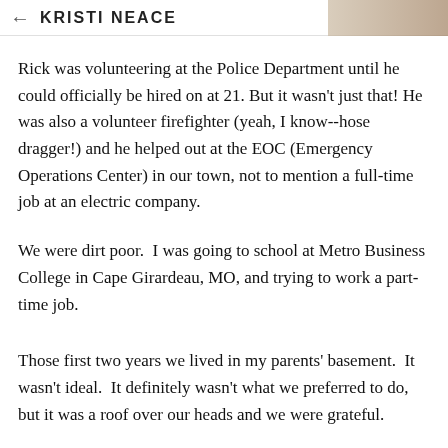KRISTI NEACE
Rick was volunteering at the Police Department until he could officially be hired on at 21. But it wasn't just that! He was also a volunteer firefighter (yeah, I know--hose dragger!) and he helped out at the EOC (Emergency Operations Center) in our town, not to mention a full-time job at an electric company.
We were dirt poor.  I was going to school at Metro Business College in Cape Girardeau, MO, and trying to work a part-time job.
Those first two years we lived in my parents' basement.  It wasn't ideal.  It definitely wasn't what we preferred to do, but it was a roof over our heads and we were grateful.